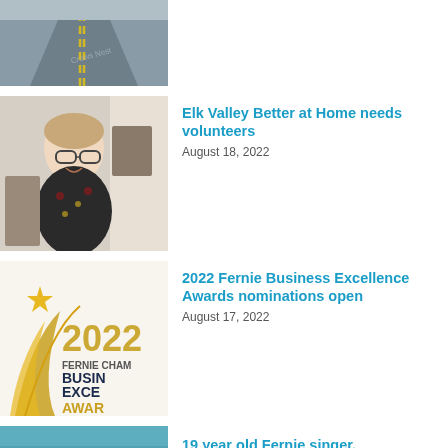[Figure (photo): Road photo showing Crowsnest highway with yellow center line]
[Figure (photo): Woman with glasses smiling, seated at desk]
Elk Valley Better at Home needs volunteers
August 18, 2022
[Figure (logo): 2022 Fernie Chamber Business Excellence Awards logo with gold trophy graphic]
2022 Fernie Business Excellence Awards nominations open
August 17, 2022
[Figure (photo): Partial thumbnail of a young Fernie singer article]
19 year old Fernie singer,